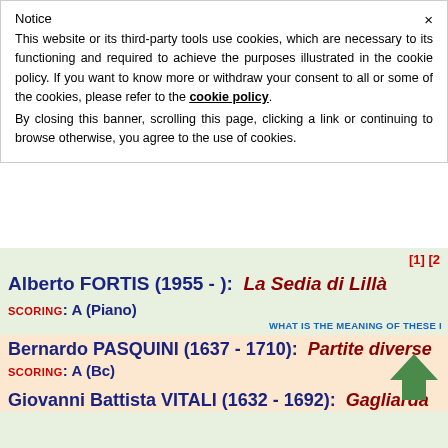Notice
This website or its third-party tools use cookies, which are necessary to its functioning and required to achieve the purposes illustrated in the cookie policy. If you want to know more or withdraw your consent to all or some of the cookies, please refer to the cookie policy. By closing this banner, scrolling this page, clicking a link or continuing to browse otherwise, you agree to the use of cookies.
[1] [2
Alberto FORTIS (1955 - ):  La Sedia di Lillà
SCORING: A (Piano)
WHAT IS THE MEANING OF THESE I
Bernardo PASQUINI (1637 - 1710):  Partite diverse
SCORING: A (Bc)
Giovanni Battista VITALI (1632 - 1692):  Gagliarda